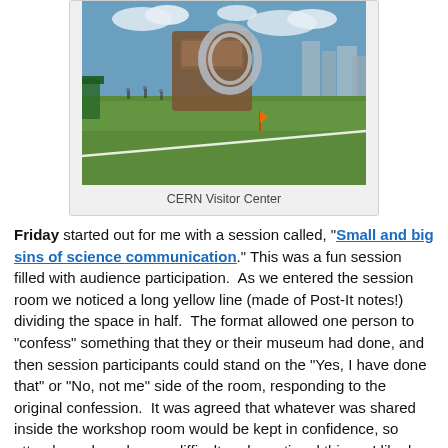[Figure (photo): Photograph of CERN Visitor Center outdoor area showing a large sculptural installation on a green lawn with buildings and blue sky in background]
CERN Visitor Center
Friday started out for me with a session called, "Small and big sins of science communication." This was a fun session filled with audience participation.  As we entered the session room we noticed a long yellow line (made of Post-It notes!) dividing the space in half.  The format allowed one person to "confess" something that they or their museum had done, and then session participants could stand on the "Yes, I have done that" or "No, not me" side of the room, responding to the original confession.  It was agreed that whatever was shared inside the workshop room would be kept in confidence, so attendees shared some difficult and emotional things. I liked the session very much, and the fun format really lets you see in a strong visual way the shared